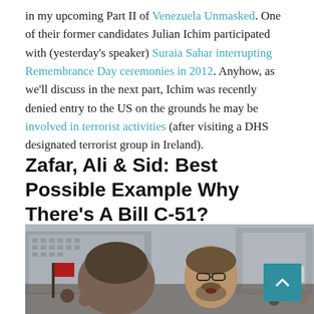in my upcoming Part II of Venezuela Unmasked. One of their former candidates Julian Ichim participated with (yesterday's speaker) Suraia Sahar interrupting Remembrance Day ceremonies in 2012. Anyhow, as we'll discuss in the next part, Ichim was recently denied entry to the US on the grounds he may be involved in terrorist activities (after visiting a DHS designated terrorist group in Ireland).
Zafar, Ali & Sid: Best Possible Example Why There's A Bill C-51?
[Figure (photo): Outdoor crowd scene with a bearded man in glasses in the foreground, protest signs and buildings in background, people in winter clothing]